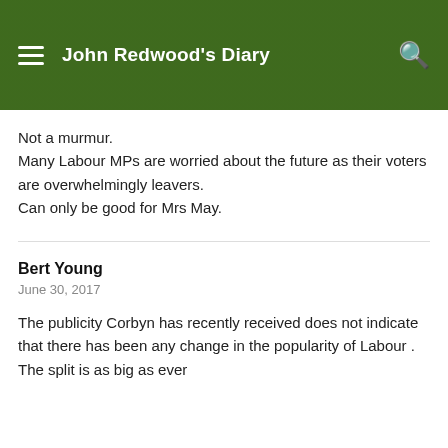John Redwood's Diary
Not a murmur.
Many Labour MPs are worried about the future as their voters are overwhelmingly leavers.
Can only be good for Mrs May.
Bert Young
June 30, 2017
The publicity Corbyn has recently received does not indicate that there has been any change in the popularity of Labour . The split is as big as ever